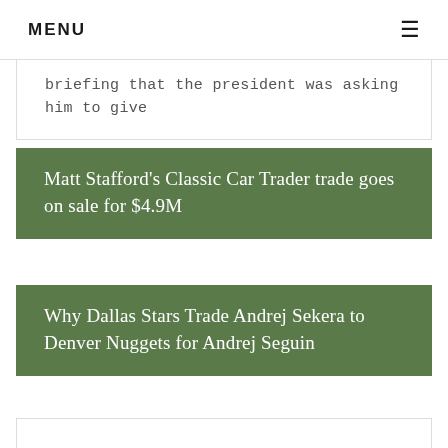MENU
briefing that the president was asking him to give
Matt Stafford's Classic Car Trader trade goes on sale for $4.9M
Why Dallas Stars Trade Andrej Sekera to Denver Nuggets for Andrej Seguin